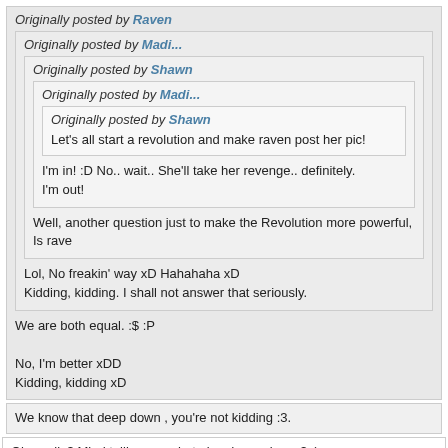Originally posted by Raven
Originally posted by Madi...
Originally posted by Shawn
Originally posted by Madi...
Originally posted by Shawn
Let's all start a revolution and make raven post her pic!
I'm in! :D No.. wait.. She'll take her revenge.. definitely.
I'm out!
Well, another question just to make the Revolution more powerful, Is rave
Lol, No freakin' way xD Hahahaha xD
Kidding, kidding. I shall not answer that seriously.
We are both equal. :$ :P
No, I'm better xDD
Kidding, kidding xD
We know that deep down , you're not kidding :3.
Oh, really? Mind telling me what else do you know? :)
Madi and Usama sitting in a tree :$:$ ... :p
That is wrong!!